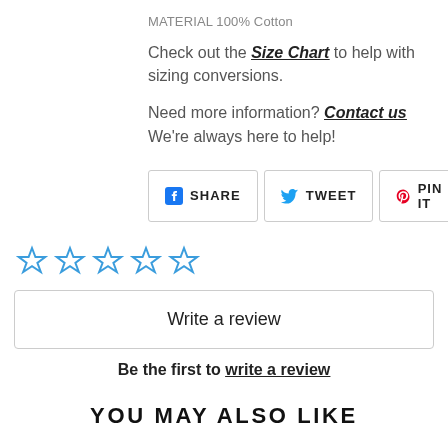MATERIAL 100% Cotton
Check out the Size Chart to help with sizing conversions.
Need more information? Contact us We're always here to help!
[Figure (other): Social sharing buttons: SHARE (Facebook), TWEET (Twitter), PIN IT (Pinterest)]
[Figure (other): Five empty star rating icons]
Write a review
Be the first to write a review
YOU MAY ALSO LIKE